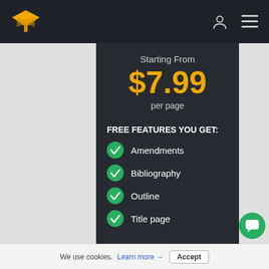[Figure (logo): Gold/yellow graduation cap logo icon in top navigation bar]
Starting From
$7.99
per page
FREE FEATURES YOU GET:
Amendments
Bibliography
Outline
Title page
We use cookies. Learn more → Accept